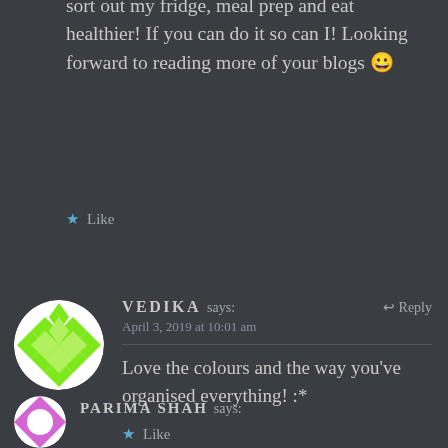sort out my fridge, meal prep and eat healthier! If you can do it so can I! Looking forward to reading more of your blogs 😀
★ Like
VEDIKA says:   ↩ Reply
April 3, 2019 at 10:01 am
Love the colours and the way you've organised everything! :*
★ Like
PARIMA SHAH says: